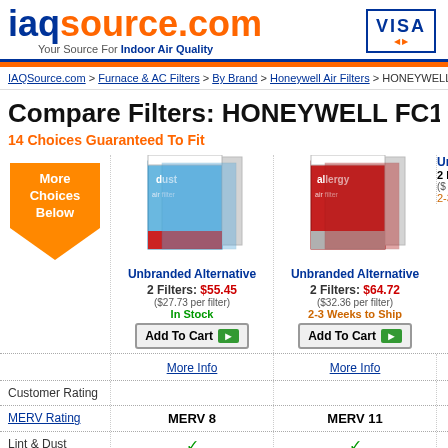iaqsource.com - Your Source For Indoor Air Quality
IAQSource.com > Furnace & AC Filters > By Brand > Honeywell Air Filters > HONEYWELL FC100
Compare Filters: HONEYWELL FC100A1
14 Choices Guaranteed To Fit
[Figure (other): Orange downward arrow badge with text: More Choices Below]
[Figure (photo): Blue dust air filter product box (2 filters)]
[Figure (photo): Red allergy air filter product box (2 filters)]
Unbranded Alternative
2 Filters: $55.45
($27.73 per filter)
In Stock
Unbranded Alternative
2 Filters: $64.72
($32.36 per filter)
2-3 Weeks to Ship
Unbra...
2 F...
($...
2-3...
More Info
More Info
Customer Rating
MERV Rating
MERV 8 | MERV 11 |
Lint & Dust